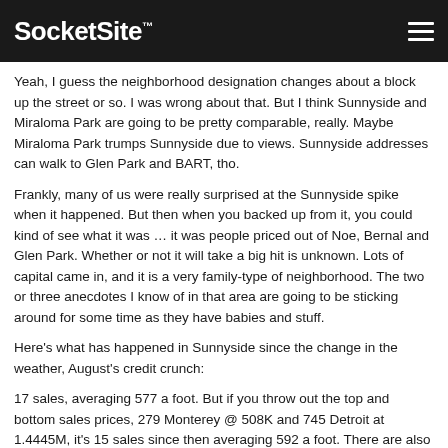SocketSite™
Yeah, I guess the neighborhood designation changes about a block up the street or so. I was wrong about that. But I think Sunnyside and Miraloma Park are going to be pretty comparable, really. Maybe Miraloma Park trumps Sunnyside due to views. Sunnyside addresses can walk to Glen Park and BART, tho.
Frankly, many of us were really surprised at the Sunnyside spike when it happened. But then when you backed up from it, you could kind of see what it was … it was people priced out of Noe, Bernal and Glen Park. Whether or not it will take a big hit is unknown. Lots of capital came in, and it is a very family-type of neighborhood. The two or three anecdotes I know of in that area are going to be sticking around for some time as they have babies and stuff.
Here's what has happened in Sunnyside since the change in the weather, August's credit crunch:
17 sales, averaging 577 a foot. But if you throw out the top and bottom sales prices, 279 Monterey @ 508K and 745 Detroit at 1.4445M, it's 15 sales since then averaging 592 a foot. There are also 4 active, two active contingency, and one pending property in Sunnyside.